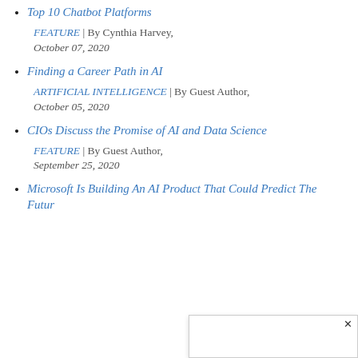Top 10 Chatbot Platforms
FEATURE | By Cynthia Harvey, October 07, 2020
Finding a Career Path in AI
ARTIFICIAL INTELLIGENCE | By Guest Author, October 05, 2020
CIOs Discuss the Promise of AI and Data Science
FEATURE | By Guest Author, September 25, 2020
Microsoft Is Building An AI Product That Could Predict The Futur